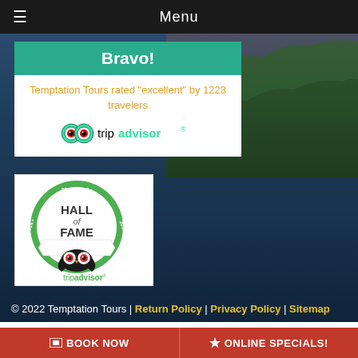Menu
Bravo!
Temptation Tours rated "excellent" by 1223 travelers
[Figure (logo): TripAdvisor logo with owl icon]
[Figure (logo): TripAdvisor Hall of Fame badge 2013-2018]
© 2022 Temptation Tours | Return Policy | Privacy Policy | Sitemap
Looking for things to do? Check out some of our
BOOK NOW   ONLINE SPECIALS!